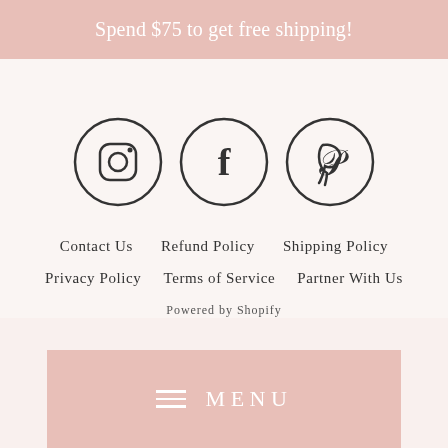Spend $75 to get free shipping!
[Figure (illustration): Three circular social media icons for Instagram, Facebook, and Pinterest, outlined in dark color on light background]
Contact Us
Refund Policy
Shipping Policy
Privacy Policy
Terms of Service
Partner With Us
Powered by Shopify
MENU